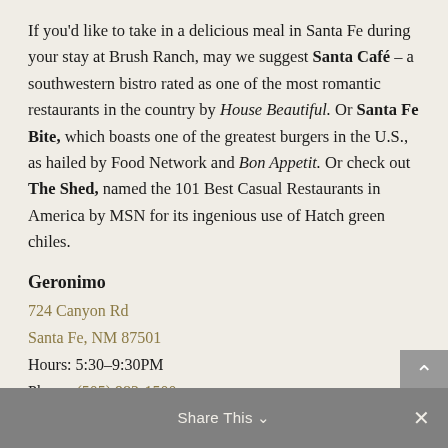If you'd like to take in a delicious meal in Santa Fe during your stay at Brush Ranch, may we suggest Santa Café – a southwestern bistro rated as one of the most romantic restaurants in the country by House Beautiful. Or Santa Fe Bite, which boasts one of the greatest burgers in the U.S., as hailed by Food Network and Bon Appetit. Or check out The Shed, named the 101 Best Casual Restaurants in America by MSN for its ingenious use of Hatch green chiles.
Geronimo
724 Canyon Rd
Santa Fe, NM 87501
Hours: 5:30–9:30PM
Phone: (505) 982-1500
Visit Website